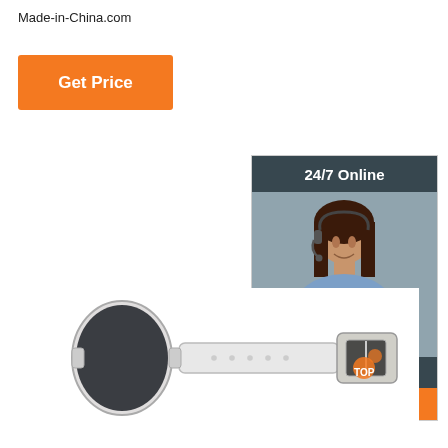Made-in-China.com
Get Price
[Figure (infographic): Customer support widget with '24/7 Online' header, photo of a woman with headset, 'Click here for free chat!' text and an orange QUOTATION button]
[Figure (photo): RFID wristband with dark oval face and white strap with buckle, viewed from back side]